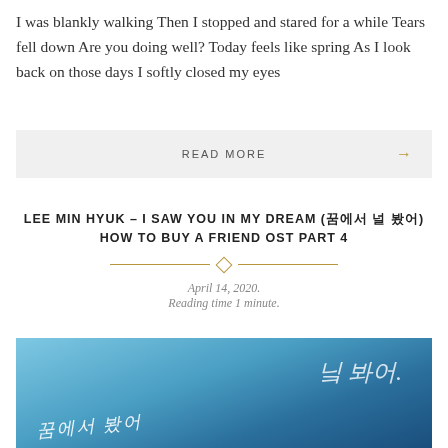I was blankly walking Then I stopped and stared for a while Tears fell down Are you doing well? Today feels like spring As I look back on those days I softly closed my eyes
READ MORE →
LEE MIN HYUK – I SAW YOU IN MY DREAM (꿈에서 널 봤어) HOW TO BUY A FRIEND OST PART 4
April 14, 2020.
Reading time 1 minute.
[Figure (photo): Blue album cover image with white handwritten Korean calligraphy script overlay]